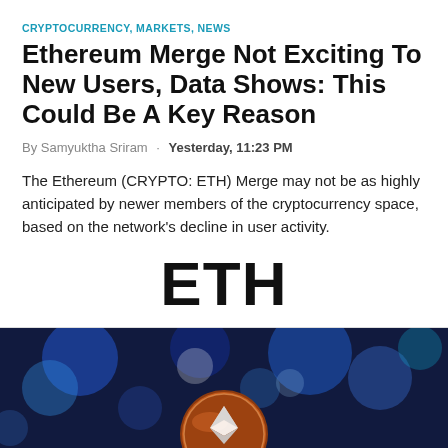CRYPTOCURRENCY, MARKETS, NEWS
Ethereum Merge Not Exciting To New Users, Data Shows: This Could Be A Key Reason
By Samyuktha Sriram · Yesterday, 11:23 PM
The Ethereum (CRYPTO: ETH) Merge may not be as highly anticipated by newer members of the cryptocurrency space, based on the network's decline in user activity.
ETH
[Figure (photo): Close-up photograph of an Ethereum coin with the Ethereum diamond logo, held against a blurred blue bokeh background.]